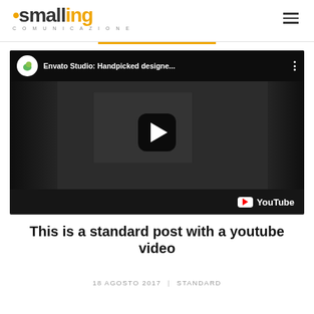smalling COMUNICAZIONE
[Figure (screenshot): YouTube video embed thumbnail showing 'Envato Studio: Handpicked designe...' with a dark scene of people, a play button in the center, and YouTube logo in the bottom right corner.]
This is a standard post with a youtube video
18 AGOSTO 2017  |  STANDARD